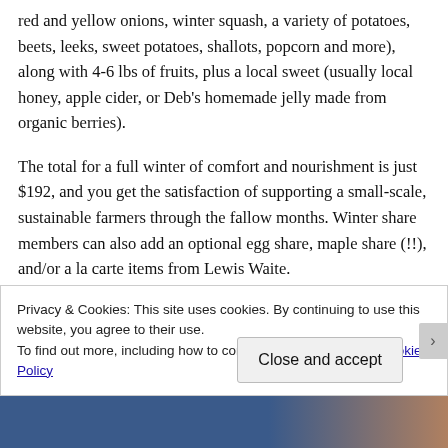red and yellow onions, winter squash, a variety of potatoes, beets, leeks, sweet potatoes, shallots, popcorn and more), along with 4-6 lbs of fruits, plus a local sweet (usually local honey, apple cider, or Deb's homemade jelly made from organic berries).
The total for a full winter of comfort and nourishment is just $192, and you get the satisfaction of supporting a small-scale, sustainable farmers through the fallow months. Winter share members can also add an optional egg share, maple share (!!), and/or a la carte items from Lewis Waite.
Privacy & Cookies: This site uses cookies. By continuing to use this website, you agree to their use.
To find out more, including how to control cookies, see here: Cookie Policy
Close and accept